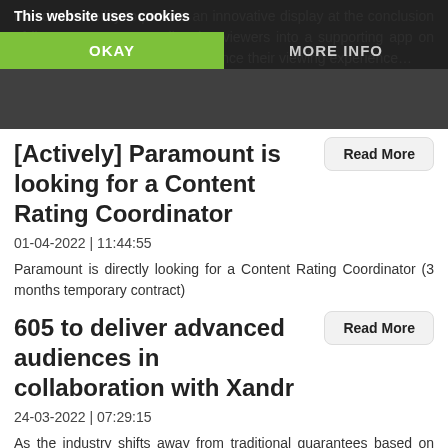brands the ability to present an innovative display at the conclusion of linear TV programs, directing viewers into a supporting app on VIZIO's operating system to enhance their viewing experience...
This website uses cookies
OKAY
MORE INFO
[Actively] Paramount is looking for a Content Rating Coordinator
01-04-2022 | 11:44:55
Paramount is directly looking for a Content Rating Coordinator (3 months temporary contract)
Read More
605 to deliver advanced audiences in collaboration with Xandr
24-03-2022 | 07:29:15
As the industry shifts away from traditional guarantees based on age and gender demographic ratings, Advanced Audiences will allow advertisers to define television audiences with greater precision using first- or third-party data.
Read More
Netflix's annual operating margin expected to fall to
Read More